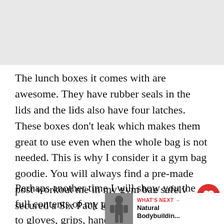[Figure (photo): Photo placeholder at top of page, light gray background]
The lunch boxes it comes with are awesome. They have rubber seals in the lids and the lids also have four latches. These boxes don't leak which makes them great to use even when the whole bag is not needed. This is why I consider it a gym bag goodie. You will always find a pre-made post workout me in my gym bag safely secured a Six Pack lunch b
Perhaps another time I will show you the full contents of my gym bag. From wraps, to gloves, grips, handles, candy, and supplement
[Figure (infographic): What's Next panel with thumbnail image of bodybuilder and text: WHAT'S NEXT → Natural Bodybuildin...]